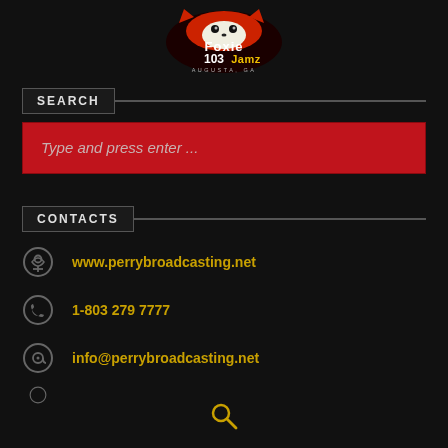[Figure (logo): Foxie 103 Jamz Augusta GA radio station logo with red fox and stylized text]
SEARCH
Type and press enter ...
CONTACTS
www.perrybroadcasting.net
1-803 279 7777
info@perrybroadcasting.net